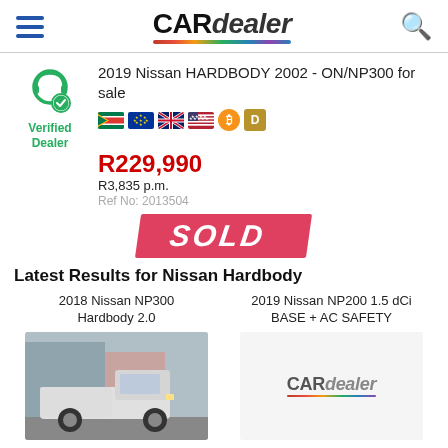[Figure (logo): CARdealer logo with hamburger menu icon on left and search icon on right]
[Figure (infographic): Verified Dealer badge icon (green headset with checkmark)]
2019 Nissan HARDBODY 2002 - ON/NP300 for sale
R229,990
R3,835 p.m.
Ref No: 2013504
[Figure (infographic): Currency/payment flags row: South Africa, EU, UK, USA, Bitcoin, D icon]
[Figure (infographic): SOLD banner in red/pink diagonal style]
Latest Results for Nissan Hardbody
2018 Nissan NP300 Hardbody 2.0
[Figure (photo): White Nissan NP300 Hardbody pickup truck parked outside a building]
2019 Nissan NP200 1.5 dCi BASE + AC SAFETY
[Figure (logo): CARdealer logo]
R195,000